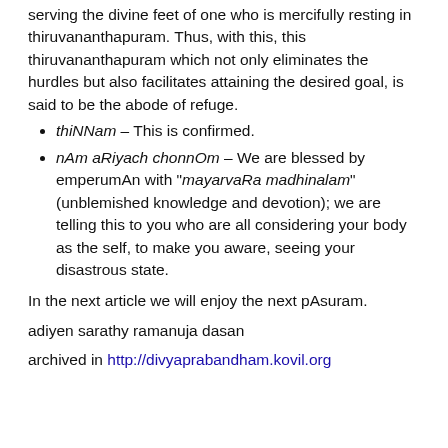serving the divine feet of one who is mercifully resting in thiruvananthapuram. Thus, with this, this thiruvananthapuram which not only eliminates the hurdles but also facilitates attaining the desired goal, is said to be the abode of refuge.
thiNNam – This is confirmed.
nAm aRiyach chonnOm – We are blessed by emperumAn with "mayarvaRa madhinalam" (unblemished knowledge and devotion); we are telling this to you who are all considering your body as the self, to make you aware, seeing your disastrous state.
In the next article we will enjoy the next pAsuram.
adiyen sarathy ramanuja dasan
archived in http://divyaprabandham.kovil.org